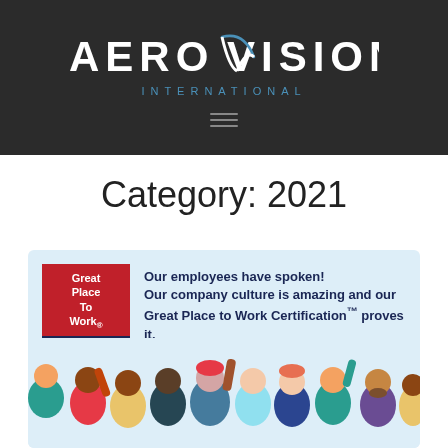[Figure (logo): AeroVision International logo in white and blue on dark background with hamburger menu icon]
Category: 2021
[Figure (infographic): Great Place to Work Certified badge (APR 2022-APR 2023, USA) alongside text: Our employees have spoken! Our company culture is amazing and our Great Place to Work Certification™ proves it. Source: 2022 Great Place to Work Trust Index® Survey. Illustration of diverse people celebrating at the bottom.]